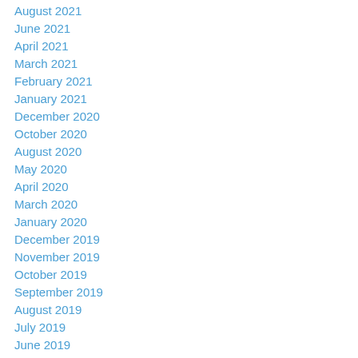August 2021
June 2021
April 2021
March 2021
February 2021
January 2021
December 2020
October 2020
August 2020
May 2020
April 2020
March 2020
January 2020
December 2019
November 2019
October 2019
September 2019
August 2019
July 2019
June 2019